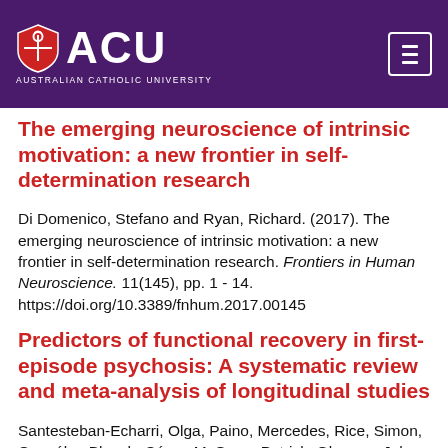[Figure (logo): Australian Catholic University (ACU) logo — shield icon and ACU text on purple header bar with menu button]
The emerging neuroscience of intrinsic motivation: a new frontier in self-determination research
Di Domenico, Stefano and Ryan, Richard. (2017). The emerging neuroscience of intrinsic motivation: a new frontier in self-determination research. Frontiers in Human Neuroscience. 11(145), pp. 1 - 14. https://doi.org/10.3389/fnhum.2017.00145
Predictors of functional recovery in first-episode psychosis: A systematic review and meta-analysis of longitudinal studies
Santesteban-Echarri, Olga, Paino, Mercedes, Rice, Simon, González-Blanch, César, McGorry, Patrick, Gleeson, John, and Alvarez-Jimenez, Mario (2017)